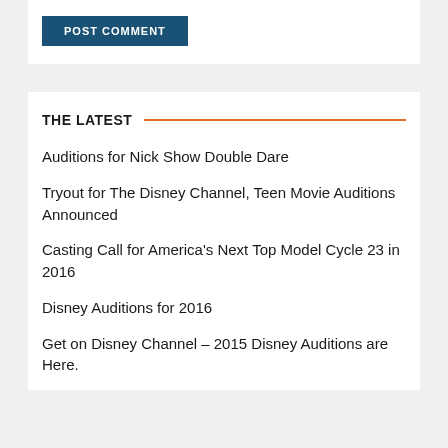[Figure (other): POST COMMENT button (blue/navy background, white uppercase bold text)]
THE LATEST
Auditions for Nick Show Double Dare
Tryout for The Disney Channel, Teen Movie Auditions Announced
Casting Call for America's Next Top Model Cycle 23 in 2016
Disney Auditions for 2016
Get on Disney Channel – 2015 Disney Auditions are Here.